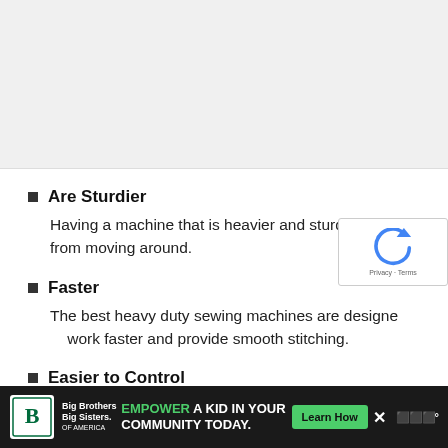[Figure (other): Blank/white image area at the top of the page]
Are Sturdier
Having a machine that is heavier and sturdier keeps it from moving around.
Faster
The best heavy duty sewing machines are designed to work faster and provide smooth stitching.
Easier to Control